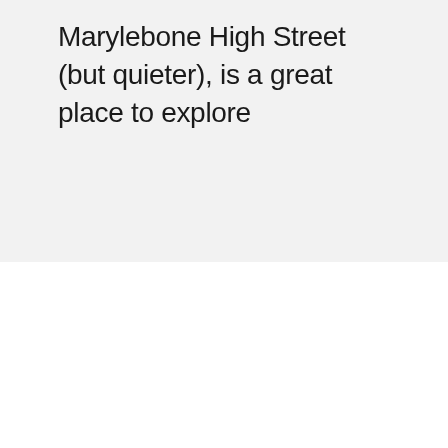Marylebone High Street (but quieter), is a great place to explore